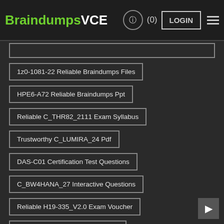BraindumpsVCE (0) LOGIN
1z0-1081-22 Reliable Braindumps Files
HPE6-A72 Reliable Braindumps Ppt
Reliable C_THR82_2111 Exam Syllabus
Trustworthy C_LUMIRA_24 Pdf
DAS-C01 Certification Test Questions
C_BW4HANA_27 Interactive Questions
Reliable H19-335_V2.0 Exam Voucher
MB-330 Latest Learning Materials
Certification DES-1241 Cost
Latest 1z0-1055-22 Exam Simulator
NSE7_SDW-6.4 Cert